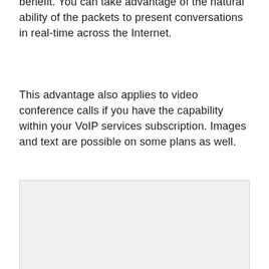benefit. You can take advantage of the natural ability of the packets to present conversations in real-time across the Internet.
This advantage also applies to video conference calls if you have the capability within your VoIP services subscription. Images and text are possible on some plans as well.
[Figure (other): A light gray rectangular image placeholder box]